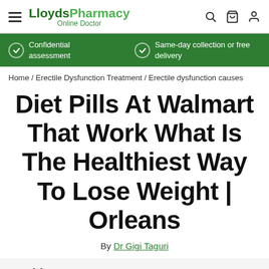LloydsPharmacy Online Doctor — navigation bar with hamburger menu, logo, search, cart, and profile icons
Confidential assessment | Same-day collection or free delivery
Home / Erectile Dysfunction Treatment / Erectile dysfunction causes
Diet Pills At Walmart That Work What Is The Healthiest Way To Lose Weight | Orleans
By Dr Gigi Taguri
On this